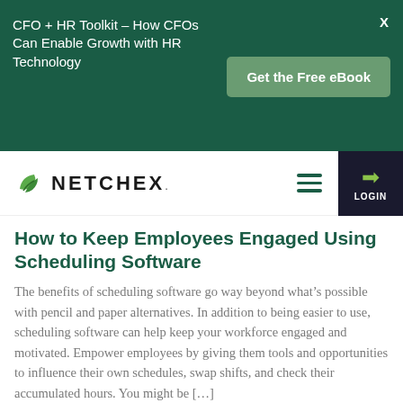[Figure (other): Dark green promotional banner with text 'CFO + HR Toolkit - How CFOs Can Enable Growth with HR Technology', a 'Get the Free eBook' button, and a close X button]
[Figure (logo): Netchex logo with green leaf/wave icon and uppercase NETCHEX. text, plus hamburger menu icon and dark login box with arrow icon]
How to Keep Employees Engaged Using Scheduling Software
The benefits of scheduling software go way beyond what’s possible with pencil and paper alternatives. In addition to being easier to use, scheduling software can help keep your workforce engaged and motivated. Empower employees by giving them tools and opportunities to influence their own schedules, swap shifts, and check their accumulated hours. You might be […]